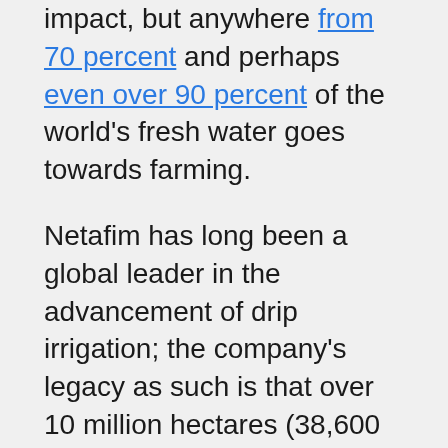impact, but anywhere from 70 percent and perhaps even over 90 percent of the world's fresh water goes towards farming.

Netafim has long been a global leader in the advancement of drip irrigation; the company's legacy as such is that over 10 million hectares (38,600 square miles) are now watered by drip technologies. Drive through the San Joaquin Valley, America's breadbasket (and fruit bowl), and chances are you will see drip irrigation systems water orchards and farms along Highway 99 or Interstate 5.

Drip technologies, compared to conventional irrigation, can slash